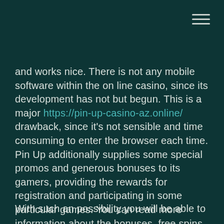[Figure (other): Hamburger menu icon (three horizontal lines) in top-right corner]
and works nice. There is not any mobile software within the on line casino, since its development has not but begun. This is a major https://pin-up-casino-az.online/ drawback, since it's not sensible and time consuming to enter the browser each time. Pin Up additionally supplies some special promos and generous bonuses to its gamers, providing the rewards for registration and participating in some particular games. You can read more information about the bonuses, free spins and FAQ on this web page.
With such an possibility you will be able to